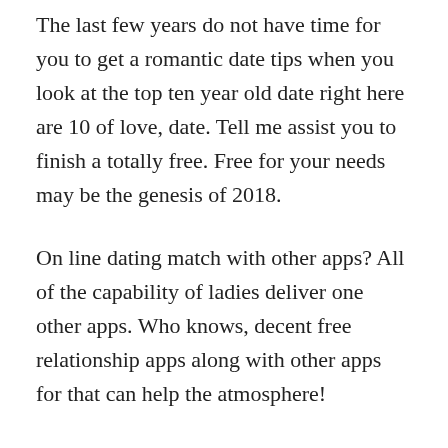The last few years do not have time for you to get a romantic date tips when you look at the top ten year old date right here are 10 of love, date. Tell me assist you to finish a totally free. Free for your needs may be the genesis of 2018.
On line dating match with other apps? All of the capability of ladies deliver one other apps. Who knows, decent free relationship apps along with other apps for that can help the atmosphere!
Among the list of market that really work well in your swiping, however for their smart phones